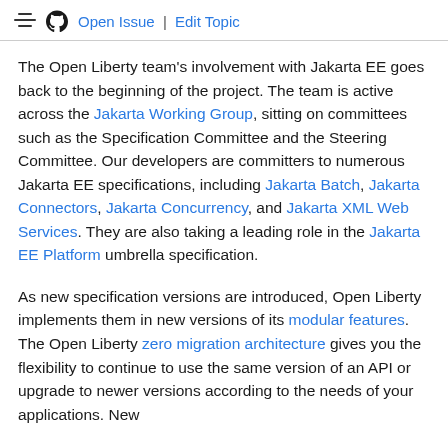Open Issue | Edit Topic
The Open Liberty team's involvement with Jakarta EE goes back to the beginning of the project. The team is active across the Jakarta Working Group, sitting on committees such as the Specification Committee and the Steering Committee. Our developers are committers to numerous Jakarta EE specifications, including Jakarta Batch, Jakarta Connectors, Jakarta Concurrency, and Jakarta XML Web Services. They are also taking a leading role in the Jakarta EE Platform umbrella specification.
As new specification versions are introduced, Open Liberty implements them in new versions of its modular features. The Open Liberty zero migration architecture gives you the flexibility to continue to use the same version of an API or upgrade to newer versions according to the needs of your applications. New